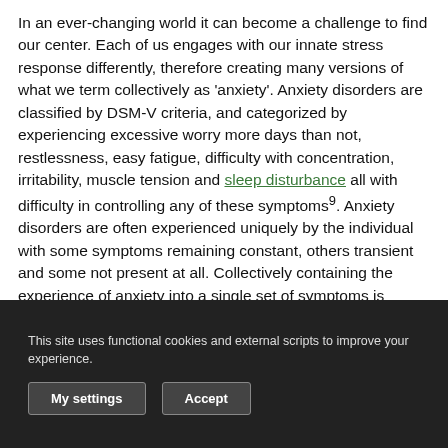In an ever-changing world it can become a challenge to find our center. Each of us engages with our innate stress response differently, therefore creating many versions of what we term collectively as 'anxiety'. Anxiety disorders are classified by DSM-V criteria, and categorized by experiencing excessive worry more days than not, restlessness, easy fatigue, difficulty with concentration, irritability, muscle tension and sleep disturbance all with difficulty in controlling any of these symptoms⁹. Anxiety disorders are often experienced uniquely by the individual with some symptoms remaining constant, others transient and some not present at all. Collectively containing the experience of anxiety into a single set of symptoms is limiting and does not offer a true reflection of the individual...
This site uses functional cookies and external scripts to improve your experience.
viewpoint of central nervous system sedation.